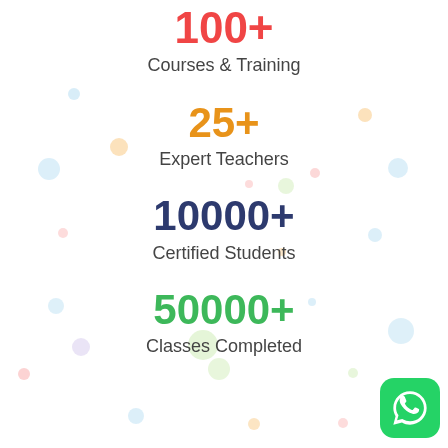100+
Courses & Training
25+
Expert Teachers
10000+
Certified Students
50000+
Classes Completed
[Figure (logo): WhatsApp icon button in green rounded square at bottom right]